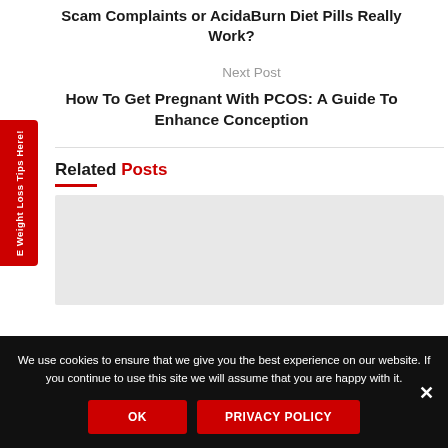Scam Complaints or AcidaBurn Diet Pills Really Work?
Next Post
How To Get Pregnant With PCOS: A Guide To Enhance Conception
Related Posts
[Figure (illustration): Gray placeholder image box for a related post thumbnail]
We use cookies to ensure that we give you the best experience on our website. If you continue to use this site we will assume that you are happy with it.
OK   PRIVACY POLICY